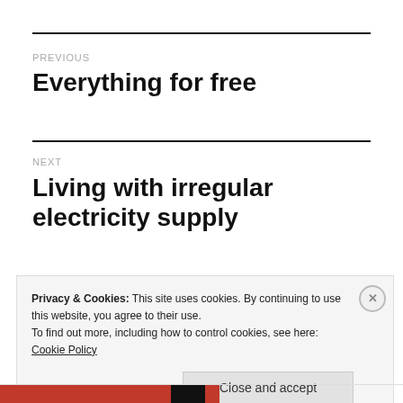PREVIOUS
Everything for free
NEXT
Living with irregular electricity supply
Privacy & Cookies: This site uses cookies. By continuing to use this website, you agree to their use.
To find out more, including how to control cookies, see here: Cookie Policy
Close and accept